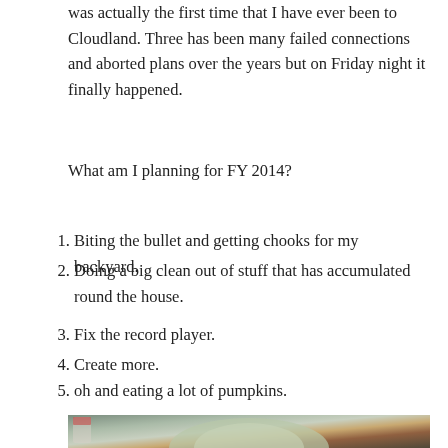was actually the first time that I have ever been to Cloudland. Three has been many failed connections and aborted plans over the years but on Friday night it finally happened.
What am I planning for FY 2014?
Biting the bullet and getting chooks for my backyard.
Doing a big clean out of stuff that has accumulated round the house.
Fix the record player.
Create more.
oh and eating a lot of pumpkins.
[Figure (photo): Photo of a large pale green/grey pumpkin with a chicken or bird and other items visible in the background, slightly desaturated/vintage filter applied.]